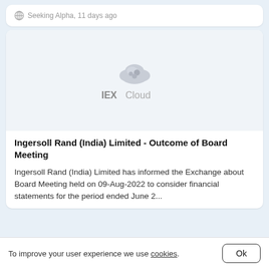Seeking Alpha, 11 days ago
[Figure (logo): IEX Cloud watermark logo on light gray image placeholder background]
Ingersoll Rand (India) Limited - Outcome of Board Meeting
Ingersoll Rand (India) Limited has informed the Exchange about Board Meeting held on 09-Aug-2022 to consider financial statements for the period ended June 2...
To improve your user experience we use cookies.  Ok